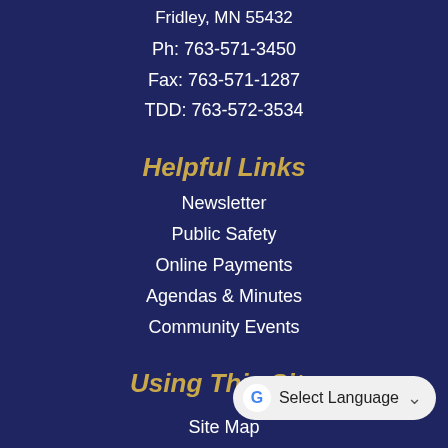Ph: 763-571-3450
Fax: 763-571-1287
TDD: 763-572-3534
Helpful Links
Newsletter
Public Safety
Online Payments
Agendas & Minutes
Community Events
Using This Site
Site Map
Accessibility